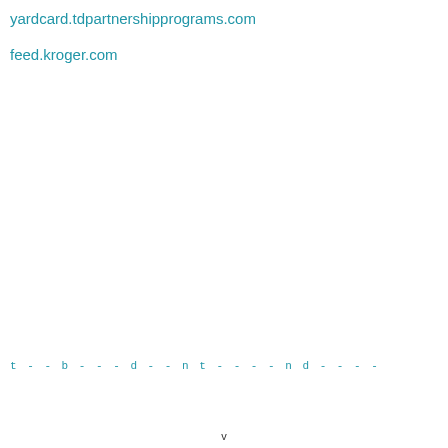yardcard.tdpartnershipprograms.com
feed.kroger.com
t - - b - - - d - - n t - - - - n d - - - -
v